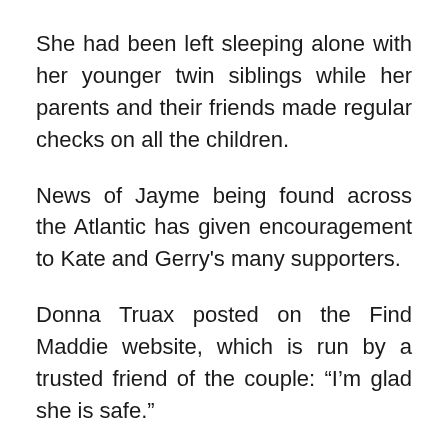She had been left sleeping alone with her younger twin siblings while her parents and their friends made regular checks on all the children.
News of Jayme being found across the Atlantic has given encouragement to Kate and Gerry's many supporters.
Donna Truax posted on the Find Maddie website, which is run by a trusted friend of the couple: “I’m glad she is safe.”
Cindie Murphy wrote: “Never give up hope, never give up searching, miracles do